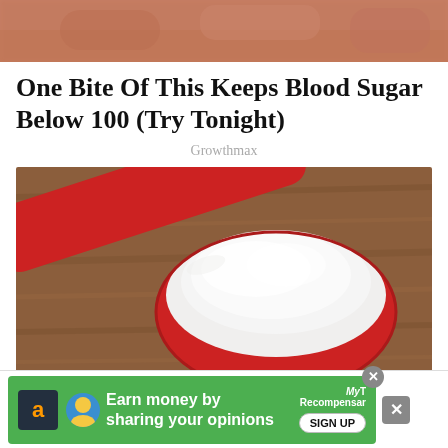[Figure (photo): Top portion of an image showing reddish-brown textured surface, cropped at top of page]
One Bite Of This Keeps Blood Sugar Below 100 (Try Tonight)
Growthmax
[Figure (photo): A red measuring spoon filled with white powder (flour or sugar) sitting on a wooden surface]
[Figure (infographic): Advertisement banner: green background with Amazon logo icon, text 'Earn money by sharing your opinions', MyRecompensar logo, and SIGN UP button. Has close buttons.]